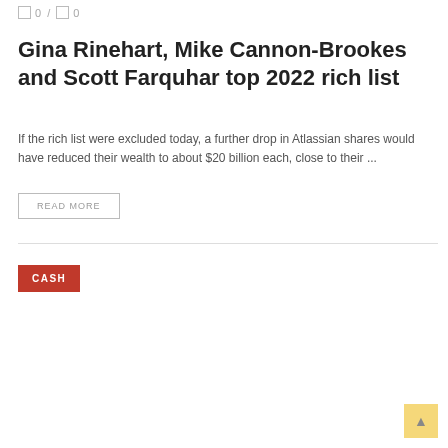0 / 0
Gina Rinehart, Mike Cannon-Brookes and Scott Farquhar top 2022 rich list
If the rich list were excluded today, a further drop in Atlassian shares would have reduced their wealth to about $20 billion each, close to their ...
READ MORE
CASH